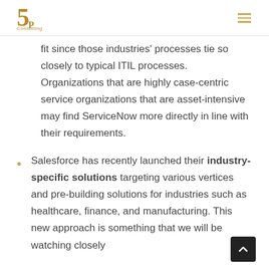5P Consulting
fit since those industries' processes tie so closely to typical ITIL processes. Organizations that are highly case-centric service organizations that are asset-intensive may find ServiceNow more directly in line with their requirements.
Salesforce has recently launched their industry-specific solutions targeting various vertices and pre-building solutions for industries such as healthcare, finance, and manufacturing. This new approach is something that we will be watching closely